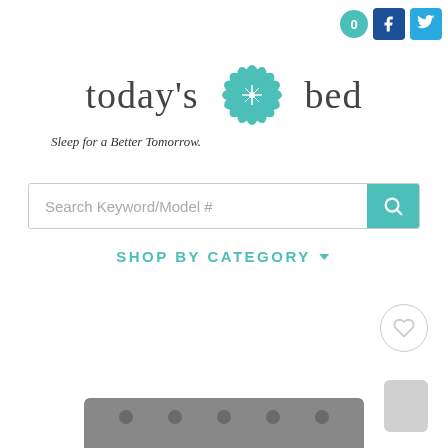[Figure (logo): Today's Bed logo with teal flower/mandala graphic between 'today's' and 'bed' text, tagline 'Sleep for a Better Tomorrow.']
[Figure (screenshot): Search bar with placeholder 'Search Keyword/Model #' and teal search button]
SHOP BY CATEGORY ▾
[Figure (screenshot): Partially visible mattress product with heart/wishlist button and scroll-to-top button]